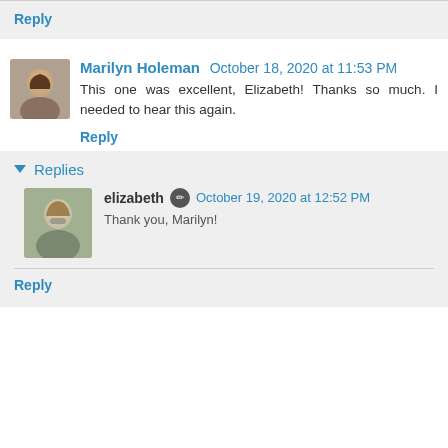Reply
Marilyn Holeman October 18, 2020 at 11:53 PM
This one was excellent, Elizabeth! Thanks so much. I needed to hear this again.
Reply
Replies
elizabeth October 19, 2020 at 12:52 PM
Thank you, Marilyn!
Reply